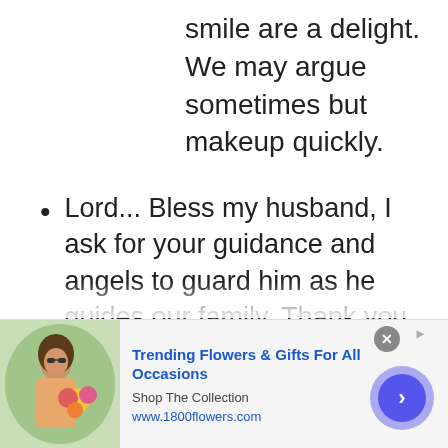smile are a delight. We may argue sometimes but makeup quickly.
Lord... Bless my husband, I ask for your guidance and angels to guard him as he guides our family. Thank you for the blessings he brings to me and our children. Keep him safe and healthy through all of his journeys in life. Today and every day. Please
[Figure (other): Advertisement banner for 1800flowers.com - Trending Flowers & Gifts For All Occasions, Shop The Collection. Shows woman with flowers, blue arrow button.]